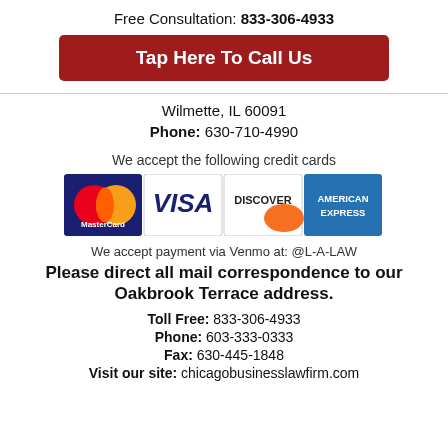Free Consultation: 833-306-4933
Tap Here To Call Us
Wilmette, IL 60091
Phone: 630-710-4990
We accept the following credit cards
[Figure (logo): Credit card logos: MasterCard, VISA, Discover, American Express]
We accept payment via Venmo at: @L-A-LAW
Please direct all mail correspondence to our Oakbrook Terrace address.
Toll Free: 833-306-4933
Phone: 603-333-0333
Fax: 630-445-1848
Visit our site: chicagobusinesslawfirm.com